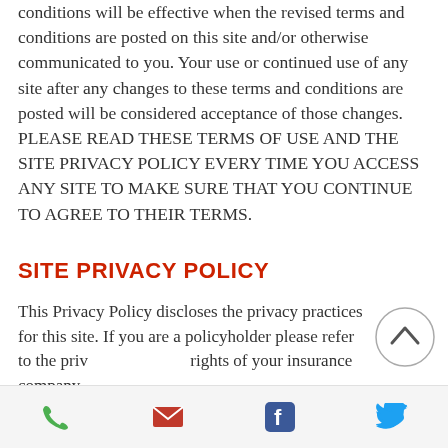conditions will be effective when the revised terms and conditions are posted on this site and/or otherwise communicated to you. Your use or continued use of any site after any changes to these terms and conditions are posted will be considered acceptance of those changes. PLEASE READ THESE TERMS OF USE AND THE SITE PRIVACY POLICY EVERY TIME YOU ACCESS ANY SITE TO MAKE SURE THAT YOU CONTINUE TO AGREE TO THEIR TERMS.
SITE PRIVACY POLICY
This Privacy Policy discloses the privacy practices for this site. If you are a policyholder please refer to the priv… rights of your insurance company.
Note that this policy contains several important exceptions, most notably the
[Figure (other): Bottom navigation bar with phone, email, Facebook, and Twitter icons]